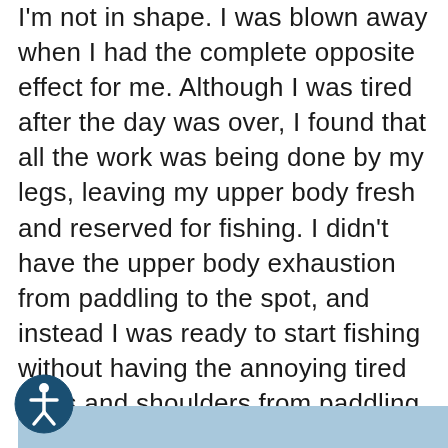I'm not in shape. I was blown away when it had the complete opposite effect for me. Although I was tired after the day was over, I found that all the work was being done by my legs, leaving my upper body fresh and reserved for fishing. I didn't have the upper body exhaustion from paddling to the spot, and instead I was ready to start fishing without having the annoying tired arms and shoulders from paddling right away. This is a huge confidence boost for me and allows me to explore more distance because I am less afraid of being able to make the trek back to the ramp if I decide to go explore the next cove or run across the lake.
[Figure (other): Blue banner/bar at the bottom of the page]